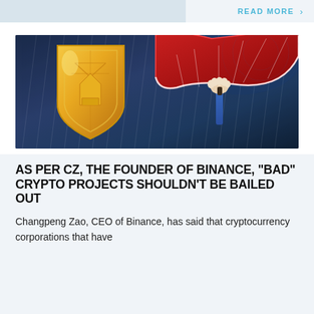READ MORE ›
[Figure (illustration): Illustration of a gold cryptocurrency shield coin on the left with rain in the background, and a hand holding a red umbrella on the right against a dark blue rainy background.]
AS PER CZ, THE FOUNDER OF BINANCE, "BAD" CRYPTO PROJECTS SHOULDN'T BE BAILED OUT
Changpeng Zao, CEO of Binance, has said that cryptocurrency corporations that have